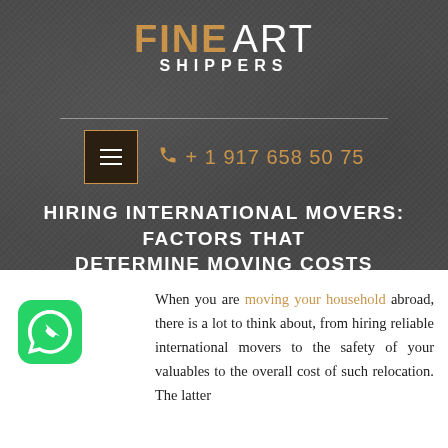FINE ART SHIPPERS
+ 1 917 658 50 75
HIRING INTERNATIONAL MOVERS: FACTORS THAT DETERMINE MOVING COSTS
July 29, 2021
[Figure (logo): WhatsApp icon — green rounded square with white phone handset]
When you are moving your household abroad, there is a lot to think about, from hiring reliable international movers to the safety of your valuables to the overall cost of such relocation. The latter